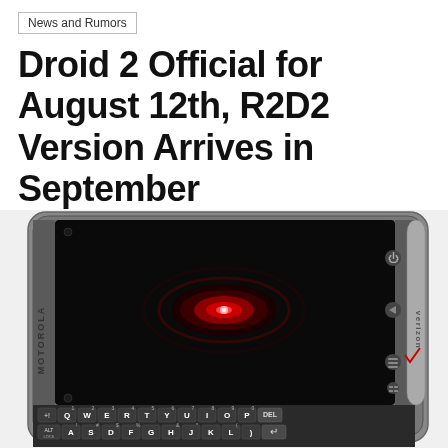News and Rumors
Droid 2 Official for August 12th, R2D2 Version Arrives in September
By Scott Webster - August 10, 2010
[Figure (photo): Motorola Droid 2 smartphone showing the physical QWERTY keyboard and touch screen with glowing red D-pad, with Verizon branding on the right side]